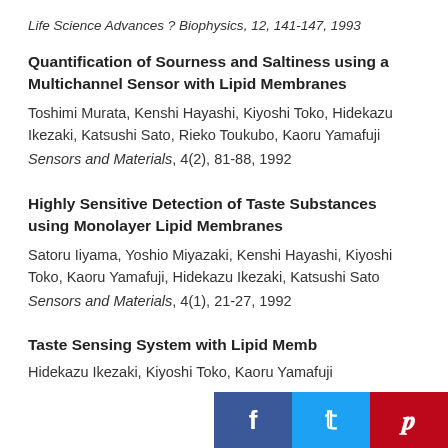Life Science Advances ? Biophysics, 12, 141-147, 1993
Quantification of Sourness and Saltiness using a Multichannel Sensor with Lipid Membranes
Toshimi Murata, Kenshi Hayashi, Kiyoshi Toko, Hidekazu Ikezaki, Katsushi Sato, Rieko Toukubo, Kaoru Yamafuji
Sensors and Materials, 4(2), 81-88, 1992
Highly Sensitive Detection of Taste Substances using Monolayer Lipid Membranes
Satoru Iiyama, Yoshio Miyazaki, Kenshi Hayashi, Kiyoshi Toko, Kaoru Yamafuji, Hidekazu Ikezaki, Katsushi Sato
Sensors and Materials, 4(1), 21-27, 1992
Taste Sensing System with Lipid Memb…
Hidekazu Ikezaki, Kiyoshi Toko, Kaoru Yamafuji…